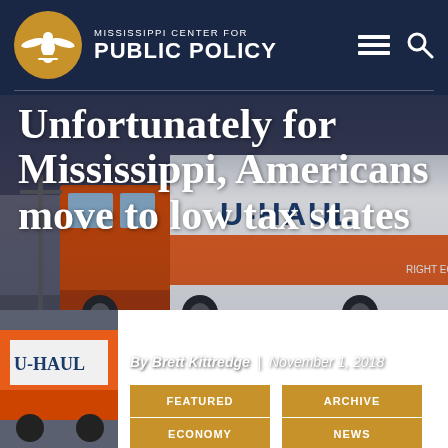MISSISSIPPI CENTER FOR PUBLIC POLICY
Unfortunately for Mississippi, Americans move to low tax states
By Brett Kittredge | November 1, 2018
FEATURED
ARCHIVE
ECONOMY
NEWS